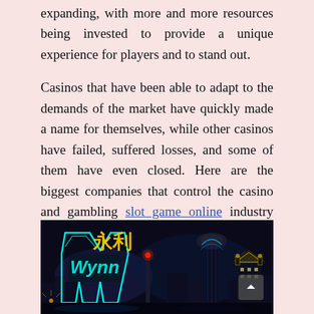expanding, with more and more resources being invested to provide a unique experience for players and to stand out.
Casinos that have been able to adapt to the demands of the market have quickly made a name for themselves, while other casinos have failed, suffered losses, and some of them have even closed. Here are the biggest companies that control the casino and gambling slot game online industry globally, companies that quickly climbed to the top of players' preferences precisely because they knew how to attract customers and most importantly, they knew how to make them to return.
[Figure (photo): Night cityscape showing illuminated casino signs including Wynn and other Macau casino buildings with neon lights against a dark sky]